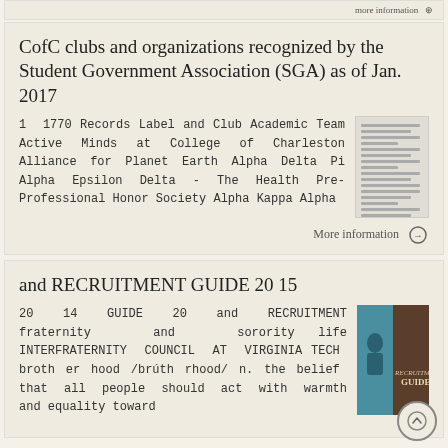More information →
CofC clubs and organizations recognized by the Student Government Association (SGA) as of Jan. 2017
1  1770 Records Label and Club Academic Team Active Minds at College of Charleston Alliance for Planet Earth Alpha Delta Pi Alpha Epsilon Delta - The Health Pre-Professional Honor Society Alpha Kappa Alpha
[Figure (illustration): Thumbnail image of a document page showing lines of text]
More information →
and RECRUITMENT GUIDE 20 15
20  14  GUIDE  20  and  RECRUITMENT fraternity       and       sorority  life INTERFRATERNITY  COUNCIL  AT  VIRGINIA TECH  broth er hood /brúth rhood/ n. the belief  that  all  people  should  act  with  warmth  and equality toward
[Figure (photo): Thumbnail image of a Recruitment Guide booklet cover with teal and brown colors]